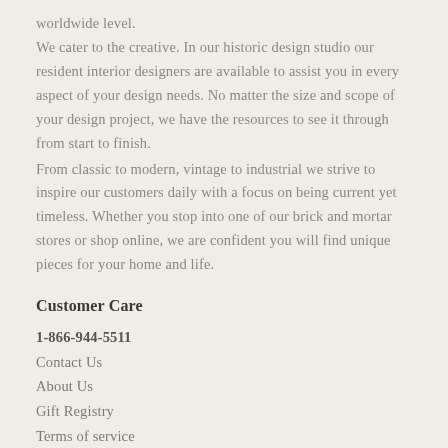worldwide level.
We cater to the creative. In our historic design studio our resident interior designers are available to assist you in every aspect of your design needs. No matter the size and scope of your design project, we have the resources to see it through from start to finish.
From classic to modern, vintage to industrial we strive to inspire our customers daily with a focus on being current yet timeless. Whether you stop into one of our brick and mortar stores or shop online, we are confident you will find unique pieces for your home and life.
Customer Care
1-866-944-5511
Contact Us
About Us
Gift Registry
Terms of service
Refund policy